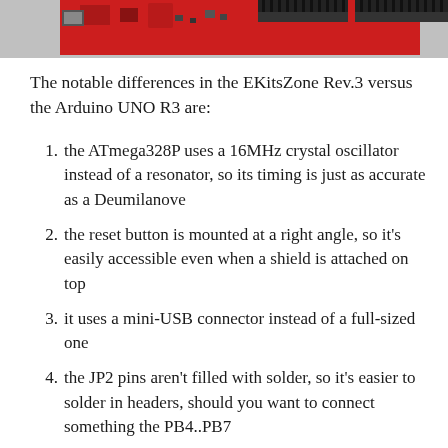[Figure (photo): Close-up photo of an Arduino-compatible board (EKitsZone Rev.3) showing red PCB with connectors and headers along the top edge.]
The notable differences in the EKitsZone Rev.3 versus the Arduino UNO R3 are:
the ATmega328P uses a 16MHz crystal oscillator instead of a resonator, so its timing is just as accurate as a Deumilanove
the reset button is mounted at a right angle, so it’s easily accessible even when a shield is attached on top
it uses a mini-USB connector instead of a full-sized one
the JP2 pins aren’t filled with solder, so it’s easier to solder in headers, should you want to connect something the PB4..PB7